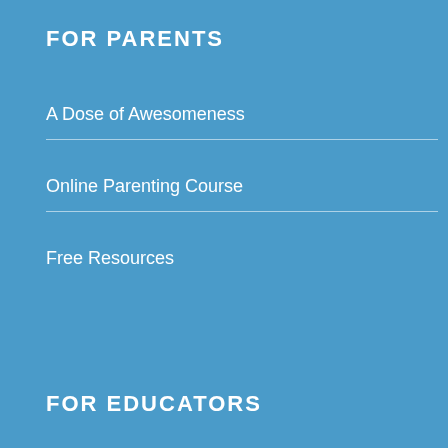FOR PARENTS
A Dose of Awesomeness
Online Parenting Course
Free Resources
FOR EDUCATORS
ECEC Online Course
Mini-Masterclasses